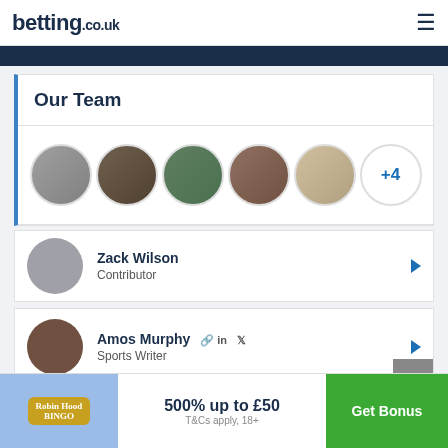betting.co.uk
Our Team
[Figure (photo): Row of 5 circular team member profile photos plus a '+4' indicator circle]
Zack Wilson
Contributor
Amos Murphy  in  [Twitter icon]
Sports Writer
500% up to £50
T&Cs apply, 18+
Get Bonus